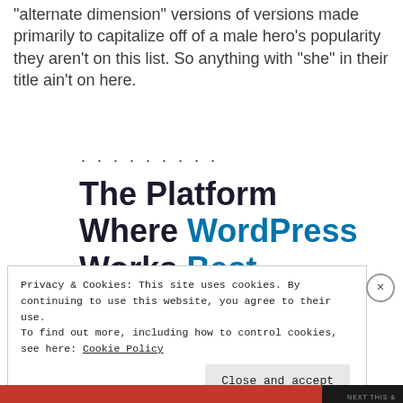“alternate dimension” versions of versions made primarily to capitalize off of a male hero’s popularity they aren’t on this list. So anything with “she” in their title ain’t on here.
. . . . . . . . .
The Platform Where WordPress Works Best
Privacy & Cookies: This site uses cookies. By continuing to use this website, you agree to their use.
To find out more, including how to control cookies, see here: Cookie Policy
Close and accept